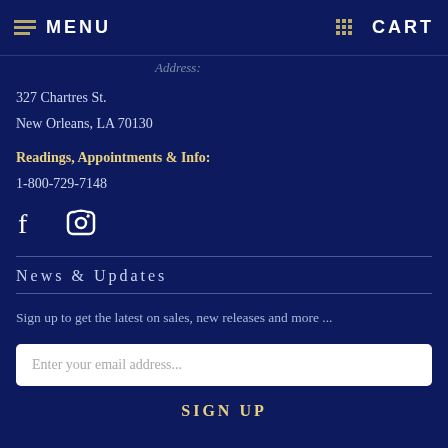MENU  CART
Address:
327 Chartres St.
New Orleans, LA 70130
Readings, Appointments & Info:
1-800-729-7148
[Figure (other): Social media icons: Facebook and Instagram]
News & Updates
Sign up to get the latest on sales, new releases and more ...
Enter your email address...
SIGN UP